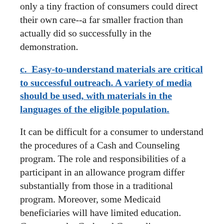only a tiny fraction of consumers could direct their own care--a far smaller fraction than actually did so successfully in the demonstration.
c.  Easy-to-understand materials are critical to successful outreach. A variety of media should be used, with materials in the languages of the eligible population.
It can be difficult for a consumer to understand the procedures of a Cash and Counseling program. The role and responsibilities of a participant in an allowance program differ substantially from those in a traditional program. Moreover, some Medicaid beneficiaries will have limited education. Consequently, Cash and Counseling programs need to explain their features through materials that are easy to understand, available in different languages, and produced in different media for those who are visually impaired or who have limited